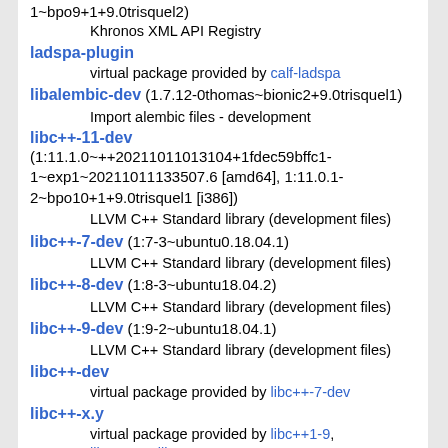1~bpo9+1+9.0trisquel2)
Khronos XML API Registry
ladspa-plugin
virtual package provided by calf-ladspa
libalembic-dev (1.7.12-0thomas~bionic2+9.0trisquel1)
Import alembic files - development
libc++-11-dev (1:11.1.0~++20211011013104+1fdec59bffc1-1~exp1~20211011133507.6 [amd64], 1:11.0.1-2~bpo10+1+9.0trisquel1 [i386])
LLVM C++ Standard library (development files)
libc++-7-dev (1:7-3~ubuntu0.18.04.1)
LLVM C++ Standard library (development files)
libc++-8-dev (1:8-3~ubuntu18.04.2)
LLVM C++ Standard library (development files)
libc++-9-dev (1:9-2~ubuntu18.04.1)
LLVM C++ Standard library (development files)
libc++-dev
virtual package provided by libc++-7-dev
libc++-x.y
virtual package provided by libc++1-9, libc++1-8, libc++1-11
libc++-x.y-dev
virtual package provided by libc++-9-dev, libc++-8-dev, libc++-11-dev
libc++1
virtual package provided by libc++1-7